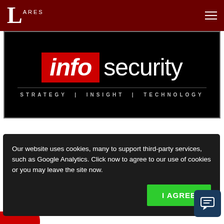[Figure (logo): Lares company logo - gothic L with ARES text on dark red navigation bar]
[Figure (logo): InfoSecurity logo - red box with white bold italic 'info' text next to white 'security' text on black background, with tagline 'STRATEGY | INSIGHT | TECHNOLOGY']
Our website uses cookies, many to support third-party services, such as Google Analytics. Click now to agree to our use of cookies or you may leave the site now.